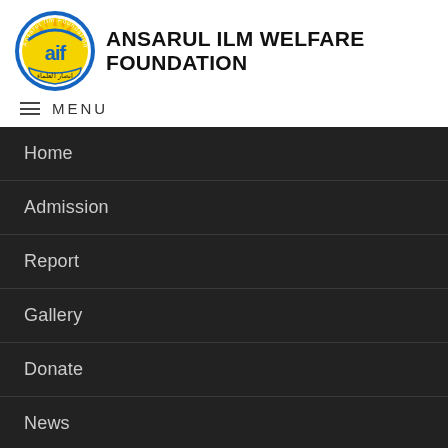[Figure (logo): AIF (Ansarul Ilm Foundation) circular logo with blue border, yellow background, 'aif' text in blue, sun/rays design above, Arabic text at bottom on a yellow ribbon banner]
ANSARUL ILM WELFARE FOUNDATION
≡ MENU
Home
Admission
Report
Gallery
Donate
News